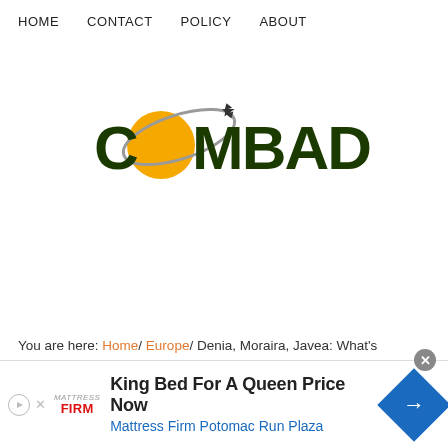HOME  CONTACT  POLICY  ABOUT
[Figure (logo): COMBADI logo with a yellow circle and gray orbital ring with a small airplane, dark green bold text reading COMBADI]
You are here: Home/ Europe/ Denia, Moraira, Javea: What's
[Figure (other): Advertisement banner: King Bed For A Queen Price Now - Mattress Firm Potomac Run Plaza, with Mattress Firm logo on left and blue arrow navigation icon on right]